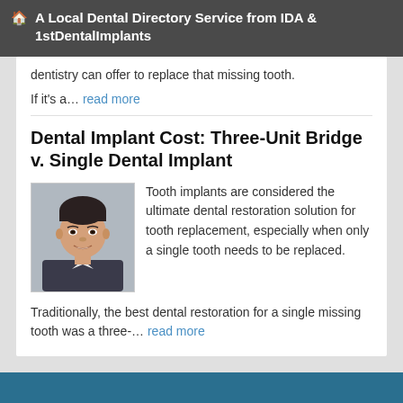A Local Dental Directory Service from IDA & 1stDentalImplants
dentistry can offer to replace that missing tooth.
If it's a… read more
Dental Implant Cost: Three-Unit Bridge v. Single Dental Implant
[Figure (photo): Portrait photo of a young Asian man smiling]
Tooth implants are considered the ultimate dental restoration solution for tooth replacement, especially when only a single tooth needs to be replaced.
Traditionally, the best dental restoration for a single missing tooth was a three-… read more
To find a Implant Dentist near you, enter your postal code below.